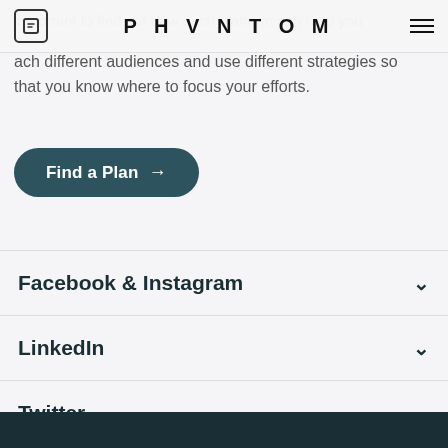PHVNTOM
important to find out how each platform can help you reach different audiences and use different strategies so that you know where to focus your efforts.
Find a Plan →
Facebook & Instagram
LinkedIn
Twitter
TikTok
Snapchat